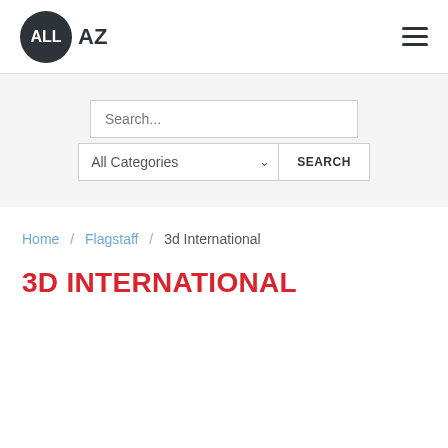ALL AZ [logo] [hamburger menu]
[Figure (other): Search bar UI with text input 'Search...', dropdown 'All Categories', and a 'SEARCH' button]
Home / Flagstaff / 3d International
3D INTERNATIONAL